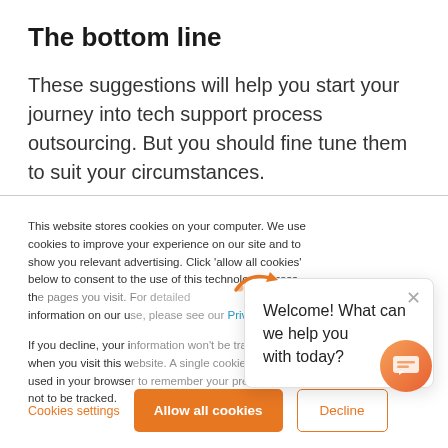The bottom line
These suggestions will help you start your journey into tech support process outsourcing. But you should fine tune them to suit your circumstances.
This website stores cookies on your computer. We use cookies to improve your experience on our site and to show you relevant advertising. Click 'allow all cookies' below to consent to the use of this technology across the pages you visit. For detailed information on our use, please see our Privacy Policy.
If you decline, your information won't be tracked when you visit this website. A single cookie will be used in your browser to remember your preference not to be tracked.
Welcome! What can we help you with today?